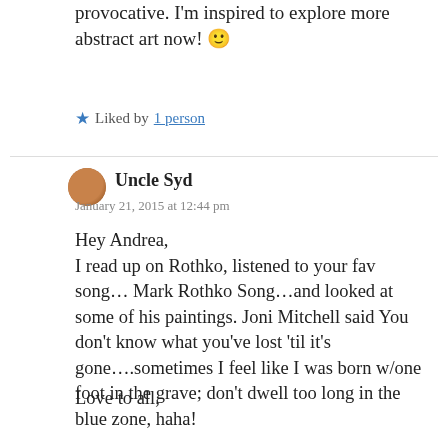provocative. I'm inspired to explore more abstract art now! 🙂
★ Liked by 1 person
Uncle Syd
January 21, 2015 at 12:44 pm
Hey Andrea,
I read up on Rothko, listened to your fav song… Mark Rothko Song…and looked at some of his paintings. Joni Mitchell said You don't know what you've lost 'til it's gone….sometimes I feel like I was born w/one foot in the grave; don't dwell too long in the blue zone, haha!
Love to all,